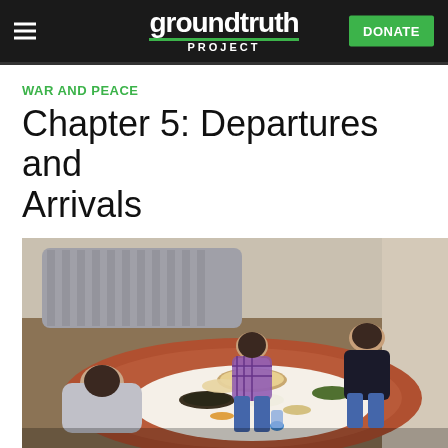groundtruth PROJECT — DONATE
WAR AND PEACE
Chapter 5: Departures and Arrivals
[Figure (photo): Three children sitting on a decorated floor mat around a spread of food dishes including bread, rice, vegetables, and other Middle Eastern dishes. A couch and patterned rug are visible in the background.]